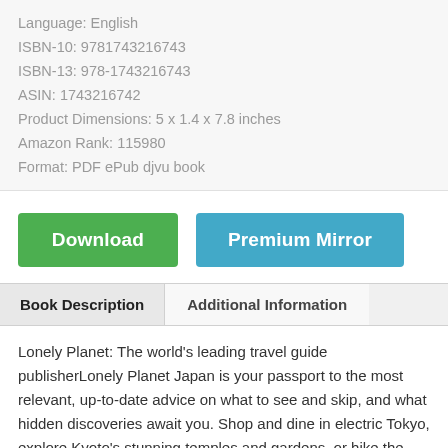Language: English
ISBN-10: 9781743216743
ISBN-13: 978-1743216743
ASIN: 1743216742
Product Dimensions: 5 x 1.4 x 7.8 inches
Amazon Rank: 115980
Format: PDF ePub djvu book
[Figure (other): Download button (green) and Premium Mirror button (teal/blue)]
Book Description | Additional Information
Lonely Planet: The world's leading travel guide publisherLonely Planet Japan is your passport to the most relevant, up-to-date advice on what to see and skip, and what hidden discoveries await you. Shop and dine in electric Tokyo, explore Kyoto's stunning temples and gardens, or hike the majestic Japan Alps; all with your trusted travel companion. Get to the heart of Japan and begin your journey